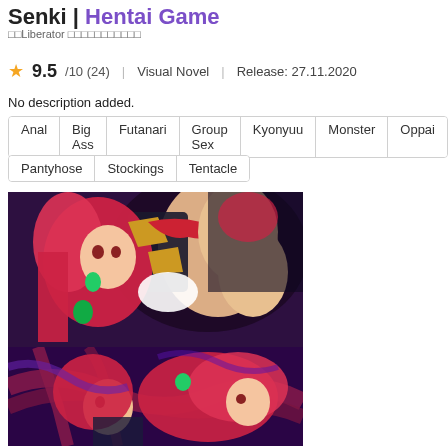Senki | Hentai Game
□□Liberator □□□□□□□□□□□
★ 9.5/10 (24) | Visual Novel | Release: 27.11.2020
No description added.
Anal | Big Ass | Futanari | Group Sex | Kyonyuu | Monster | Oppai
Pantyhose | Stockings | Tentacle
[Figure (illustration): Two-panel anime-style illustration showing a red-haired female character in armor/fantasy costume in explicit scenes]